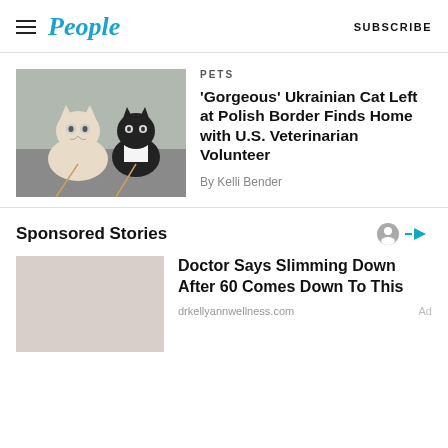People | SUBSCRIBE
[Figure (photo): Two cats on a table — a white/cream cat and a black-and-white cat on leashes]
PETS
'Gorgeous' Ukrainian Cat Left at Polish Border Finds Home with U.S. Veterinarian Volunteer
By Kelli Bender
Sponsored Stories
Doctor Says Slimming Down After 60 Comes Down To This
drkellyannwellness.com
Ad